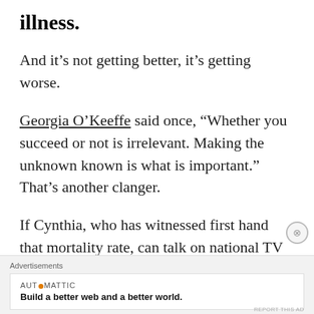illness.
And it’s not getting better, it’s getting worse.
Georgia O’Keeffe said once, “Whether you succeed or not is irrelevant. Making the unknown known is what is important.” That’s another clanger.
If Cynthia, who has witnessed first hand that mortality rate, can talk on national TV like
Advertisements
AUT●MATTIC
Build a better web and a better world.